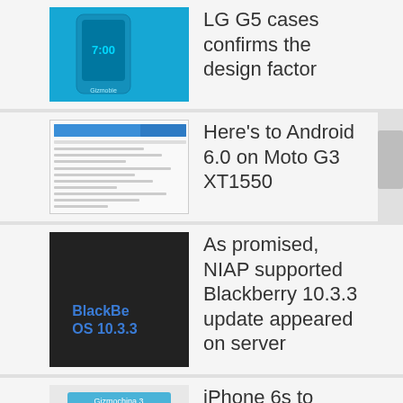LG G5 cases confirms the design factor
Here's to Android 6.0 on Moto G3 XT1550
As promised, NIAP supported Blackberry 10.3.3 update appeared on server
iPhone 6s to come up with 1GB RAM and 2.0GHz processor?
Is this DROID TURBO 2215...